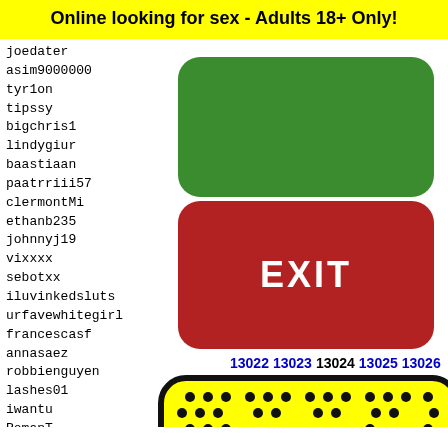Online looking for sex - Adults 18+ Only!
joedater
asim9000000
tyr1on
tipssy
bigchris1
lindygiur
baastiaan
paatrriii57
clermontMi
ethanb235
johnnyj19
vixxxx
sebotxx
iluvinkedsluts
urfavewhitegirl
francescasf
annasaez
robbienguyen
lashes01
iwantu
RomanT
pornst
Ldybug
cesare
ruhorn
13022 13023 13024 13025 13026
[Figure (illustration): Snapchat ghost logo on yellow background with rounded black border, showing dots pattern and ghost face]